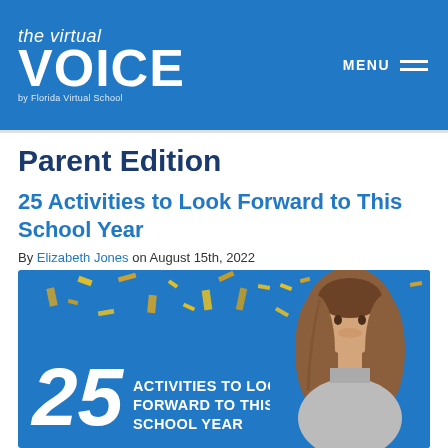the virtual VOICE by Florida Virtual School | MENU
Parent Edition
25 Activities to Look Forward to This School Year
By Elizabeth Jones on August 15th, 2022
[Figure (photo): Promotional banner image with blue background and gold confetti showing '25 ACTIVITIES TO LOOK FORWARD TO THIS SCHOOL YEAR' text with a smiling young woman on the right side]